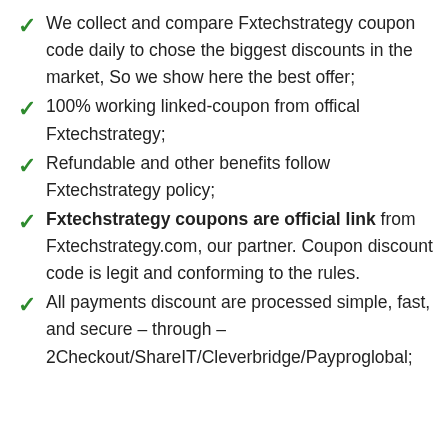We collect and compare Fxtechstrategy coupon code daily to chose the biggest discounts in the market, So we show here the best offer;
100% working linked-coupon from offical Fxtechstrategy;
Refundable and other benefits follow Fxtechstrategy policy;
Fxtechstrategy coupons are official link from Fxtechstrategy.com, our partner. Coupon discount code is legit and conforming to the rules.
All payments discount are processed simple, fast, and secure – through – 2Checkout/ShareIT/Cleverbridge/Payproglobal;